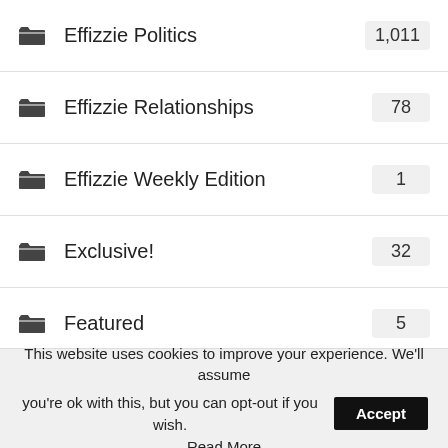Effizzie Politics 1,011
Effizzie Relationships 78
Effizzie Weekly Edition 1
Exclusive! 32
Featured 5
Fitness & Shape 50
Health & Beauty 123
Interviews 41
Lifestyle 33
Music 675
This website uses cookies to improve your experience. We'll assume you're ok with this, but you can opt-out if you wish. Accept
Read More